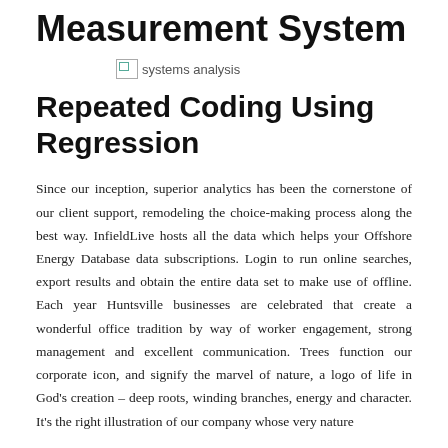Measurement System
[Figure (photo): Broken image placeholder labeled 'systems analysis']
Repeated Coding Using Regression
Since our inception, superior analytics has been the cornerstone of our client support, remodeling the choice-making process along the best way. InfieldLive hosts all the data which helps your Offshore Energy Database data subscriptions. Login to run online searches, export results and obtain the entire data set to make use of offline. Each year Huntsville businesses are celebrated that create a wonderful office tradition by way of worker engagement, strong management and excellent communication. Trees function our corporate icon, and signify the marvel of nature, a logo of life in God's creation – deep roots, winding branches, energy and character. It's the right illustration of our company whose very nature